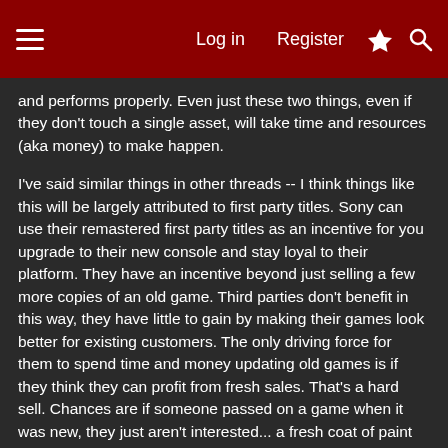Log in  Register
and performs properly. Even just these two things, even if they don't touch a single asset, will take time and resources (aka money) to make happen.
I've said similar things in other threads -- I think things like this will be largely attributed to first party titles. Sony can use their remastered first party titles as an incentive for you upgrade to their new console and stay loyal to their platform. They have an incentive beyond just selling a few more copies of an old game. Third parties don't benefit in this way, they have little to gain by making their games look better for existing customers. The only driving force for them to spend time and money updating old games is if they think they can profit from fresh sales. That's a hard sell. Chances are if someone passed on a game when it was new, they just aren't interested... a fresh coat of paint ins't likely to change that, at least not in significant numbers. We'll likely see some of the most popular third-party AAA titles get this treatment (particularly if Sony/MS is willing to cover the cost) -- but I